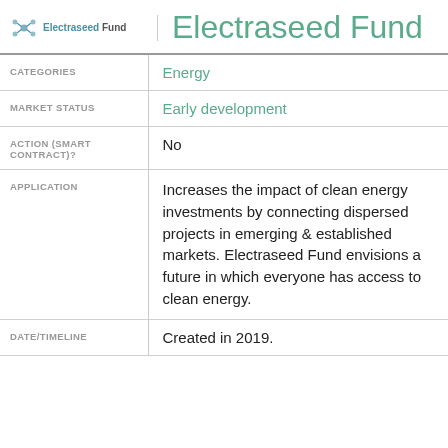[Figure (logo): Electraseed Fund logo with molecule icon and text]
Electraseed Fund
| Field | Value |
| --- | --- |
| CATEGORIES | Energy |
| MARKET STATUS | Early development |
| ACTION (SMART CONTRACT)? | No |
| APPLICATION | Increases the impact of clean energy investments by connecting dispersed projects in emerging & established markets. Electraseed Fund envisions a future in which everyone has access to clean energy. |
| DATE/TIMELINE | Created in 2019. |